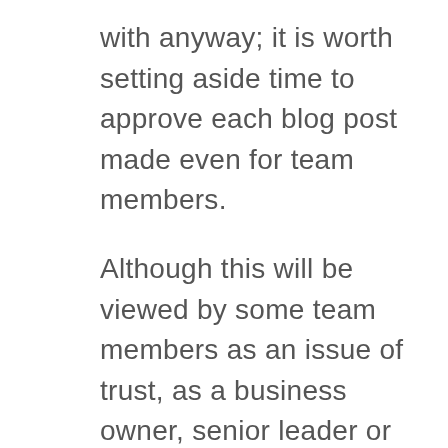with anyway; it is worth setting aside time to approve each blog post made even for team members.
Although this will be viewed by some team members as an issue of trust, as a business owner, senior leader or other responsible for brand image, it helps establish direction and expectations. Remember – when something goes wrong, will the public, shareholders, customers or other investors contact your direct reports or you? It is true that those who seek constant buy-in from